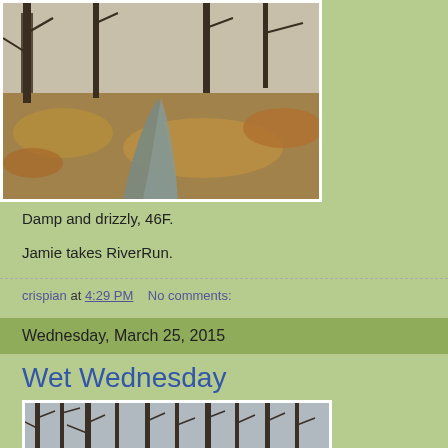[Figure (photo): A gravel path with fallen autumn leaves and bare trees, outdoor nature scene, damp conditions]
Damp and drizzly, 46F.
Jamie takes RiverRun.
crispian at 4:29 PM    No comments:
Wednesday, March 25, 2015
Wet Wednesday
[Figure (photo): Bare winter trees in a forest or wooded area, grey sky, wet and misty conditions]